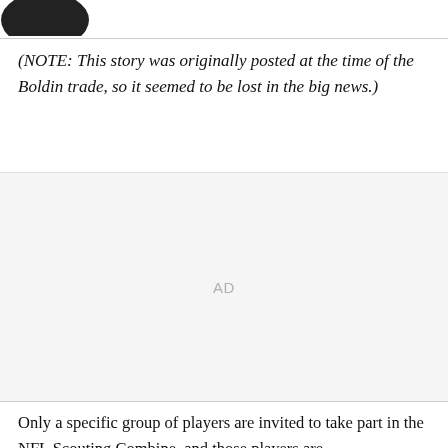[Figure (logo): Dark circular/blob logo in top left corner]
(NOTE: This story was originally posted at the time of the Boldin trade, so it seemed to be lost in the big news.)
[Figure (other): Advertisement placeholder (AD)]
Only a specific group of players are invited to take part in the NFL Scouting Combine, and those players are...